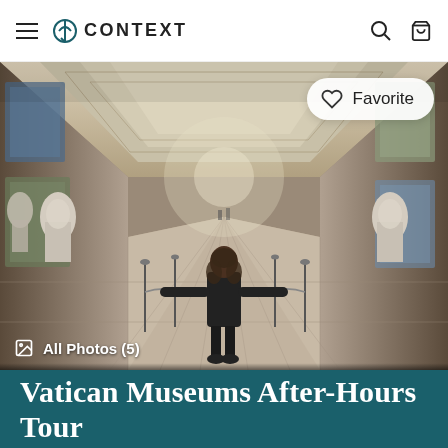≡  ⟳ CONTEXT
[Figure (photo): Interior of the Vatican Museums gallery hall — a woman in a black coat stands in the center of an ornate corridor with arms outstretched, surrounded by decorated walls, painted ceilings, marble sculptures on pedestals, and a geometric marble floor receding to a bright vanishing point. A 'Favorite' button with a heart icon overlays the top-right corner. 'All Photos (5)' label appears at bottom-left.]
Vatican Museums After-Hours Tour